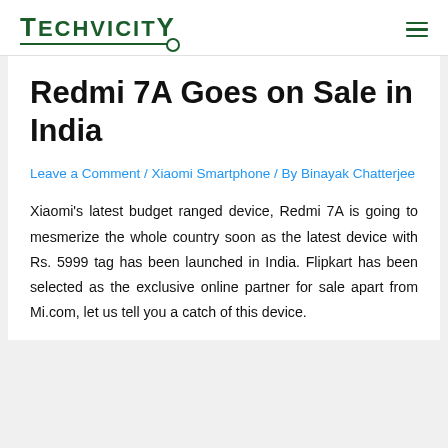TECHVICITY
Redmi 7A Goes on Sale in India
Leave a Comment / Xiaomi Smartphone / By Binayak Chatterjee
Xiaomi's latest budget ranged device, Redmi 7A is going to mesmerize the whole country soon as the latest device with Rs. 5999 tag has been launched in India. Flipkart has been selected as the exclusive online partner for sale apart from Mi.com, let us tell you a catch of this device.